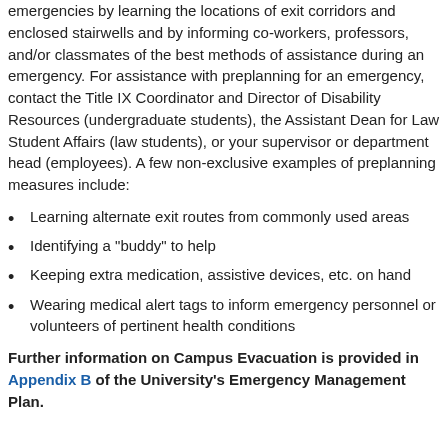emergencies by learning the locations of exit corridors and enclosed stairwells and by informing co-workers, professors, and/or classmates of the best methods of assistance during an emergency. For assistance with preplanning for an emergency, contact the Title IX Coordinator and Director of Disability Resources (undergraduate students), the Assistant Dean for Law Student Affairs (law students), or your supervisor or department head (employees). A few non-exclusive examples of preplanning measures include:
Learning alternate exit routes from commonly used areas
Identifying a "buddy" to help
Keeping extra medication, assistive devices, etc. on hand
Wearing medical alert tags to inform emergency personnel or volunteers of pertinent health conditions
Further information on Campus Evacuation is provided in Appendix B of the University's Emergency Management Plan.